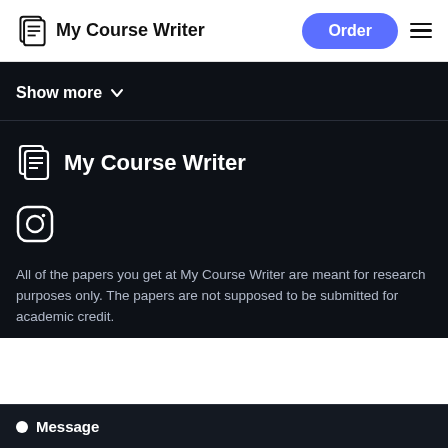My Course Writer | Order
Show more
[Figure (logo): My Course Writer logo with document/pages icon and bold text]
[Figure (logo): Instagram social media icon (rounded square with circle)]
All of the papers you get at My Course Writer are meant for research purposes only. The papers are not supposed to be submitted for academic credit.
Message